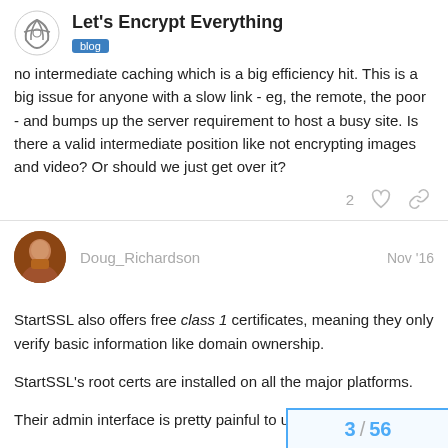Let's Encrypt Everything — blog
no intermediate caching which is a big efficiency hit. This is a big issue for anyone with a slow link - eg, the remote, the poor - and bumps up the server requirement to host a busy site. Is there a valid intermediate position like not encrypting images and video? Or should we just get over it?
Doug_Richardson  Nov '16
StartSSL also offers free class 1 certificates, meaning they only verify basic information like domain ownership.
StartSSL's root certs are installed on all the major platforms.
Their admin interface is pretty painful to use though.
3 / 56